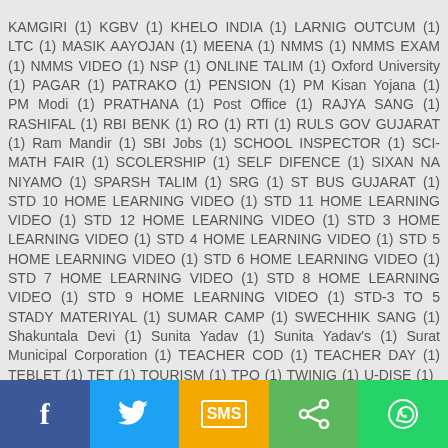KAMGIRI (1) KGBV (1) KHELO INDIA (1) LARNIG OUTCUM (1) LTC (1) MASIK AAYOJAN (1) MEENA (1) NMMS (1) NMMS EXAM (1) NMMS VIDEO (1) NSP (1) ONLINE TALIM (1) Oxford University (1) PAGAR (1) PATRAKO (1) PENSION (1) PM Kisan Yojana (1) PM Modi (1) PRATHANA (1) Post Office (1) RAJYA SANG (1) RASHIFAL (1) RBI BENK (1) RO (1) RTI (1) RULS GOV GUJARAT (1) Ram Mandir (1) SBI Jobs (1) SCHOOL INSPECTOR (1) SCI-MATH FAIR (1) SCOLERSHIP (1) SELF DIFENCE (1) SIXAN NA NIYAMO (1) SPARSH TALIM (1) SRG (1) ST BUS GUJARAT (1) STD 10 HOME LEARNING VIDEO (1) STD 11 HOME LEARNING VIDEO (1) STD 12 HOME LEARNING VIDEO (1) STD 3 HOME LEARNING VIDEO (1) STD 4 HOME LEARNING VIDEO (1) STD 5 HOME LEARNING VIDEO (1) STD 6 HOME LEARNING VIDEO (1) STD 7 HOME LEARNING VIDEO (1) STD 8 HOME LEARNING VIDEO (1) STD 9 HOME LEARNING VIDEO (1) STD-3 TO 5 STADY MATERIYAL (1) SUMAR CAMP (1) SWECHHIK SANG (1) Shakuntala Devi (1) Sunita Yadav (1) Sunita Yadav's (1) Surat Municipal Corporation (1) TEACHER COD (1) TEACHER DAY (1) TEBLET (1) TET (1) TOURISM (1) TPO (1) TWINIG (1) U-DISE (1)
[Figure (infographic): Social sharing footer bar with 5 buttons: Facebook (blue, f icon), Twitter (light blue, bird icon), SMS (yellow/orange, SMS icon), Share (green, share icon), WhatsApp (green, phone icon)]